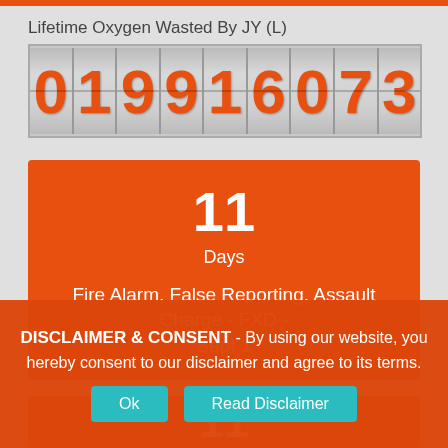Lifetime Oxygen Wasted By JY (L)
[Figure (other): Mechanical counter/odometer display showing the digits 01991 6073 in orange on gray segmented digit panels]
11 Days Fire Alarm, False Reporting, Assault Charge - FXD - Sept 1
11
DISCLAIMER & CONSENT - By using our website, you hereby consent to our disclaimer and agree to its terms.
Ok
Read Disclaimer